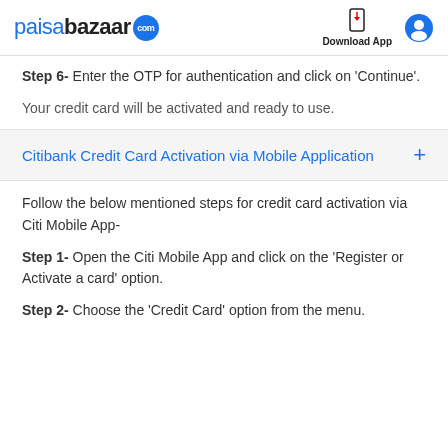paisabazaar.com | Download App
Step 6- Enter the OTP for authentication and click on 'Continue'.
Your credit card will be activated and ready to use.
Citibank Credit Card Activation via Mobile Application
Follow the below mentioned steps for credit card activation via Citi Mobile App-
Step 1- Open the Citi Mobile App and click on the 'Register or Activate a card' option.
Step 2- Choose the 'Credit Card' option from the menu.